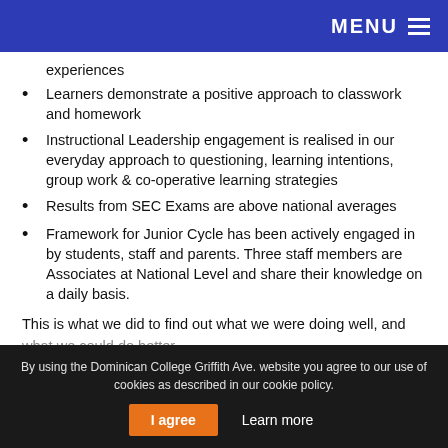MENU
experiences
Learners demonstrate a positive approach to classwork and homework
Instructional Leadership engagement is realised in our everyday approach to questioning, learning intentions, group work & co-operative learning strategies
Results from SEC Exams are above national averages
Framework for Junior Cycle has been actively engaged in by students, staff and parents. Three staff members are Associates at National Level and share their knowledge on a daily basis.
This is what we did to find out what we were doing well, and what we could do better.
By using the Dominican College Griffith Ave. website you agree to our use of cookies as described in our cookie policy. | I agree | Learn more